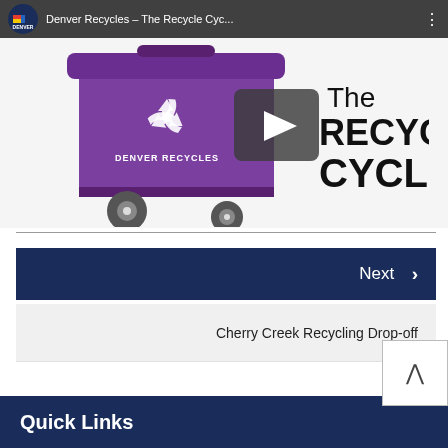[Figure (screenshot): YouTube video thumbnail showing Denver Recycles – The Recycle Cycle video with a purple recycling bin and play button overlay on white background]
Next >
Cherry Creek Recycling Drop-off
Quick Links